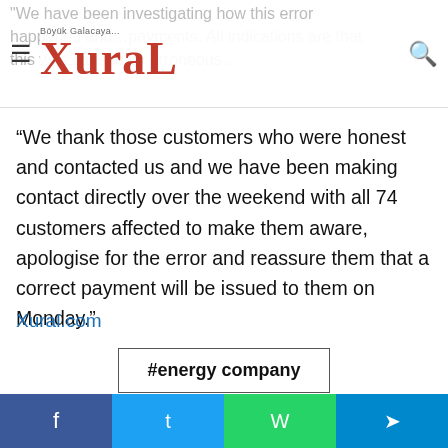Böyük Galacaya... XuraL
“We thank those customers who were honest and contacted us and we have been making contact directly over the weekend with all 74 customers affected to make them aware, apologise for the error and reassure them that a correct payment will be issued to them on Monday.”
Xural.com
#energy company
[Figure (other): Social share buttons row: Facebook, Twitter, LinkedIn, Tumblr, Pinterest, Reddit, VK, Email, and scroll-up arrow]
Facebook | Twitter | WhatsApp | Telegram — bottom share bar